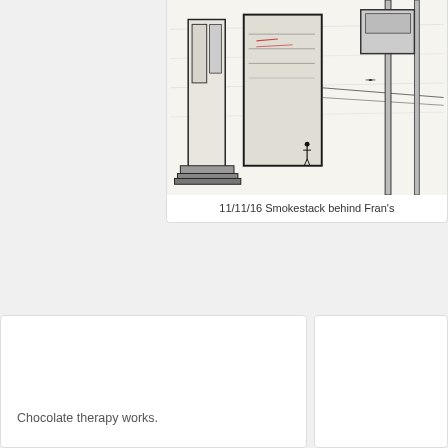[Figure (illustration): Charcoal/pencil sketch of industrial smokestacks and buildings with a small human figure for scale]
11/11/16 Smokestack behind Fran's
[Figure (photo): Mostly white/blank card area below]
Chocolate therapy works.
[Figure (photo): Partially visible card on the right side]